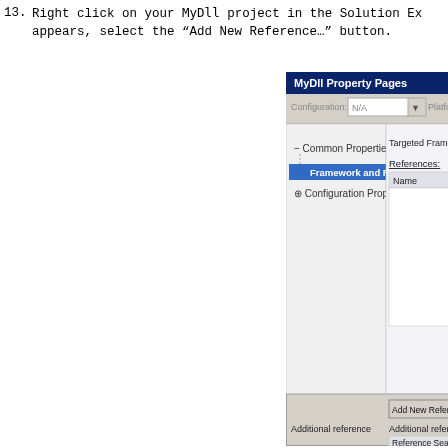13.  Right click on your MyDll project in the Solution Explorer. When the property page appears, select the “Add New Reference…” button.
[Figure (screenshot): MyDLL Property Pages dialog showing Common Properties > Framework and References selected in the tree view on the left, and on the right showing Targeted Framework, References with Name column, Add New Reference button, Additional reference section, and Reference Search P fields. The dialog is partially cropped on the right side.]